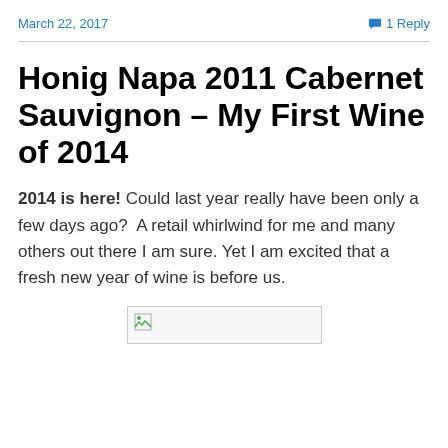March 22, 2017   1 Reply
Honig Napa 2011 Cabernet Sauvignon – My First Wine of 2014
2014 is here! Could last year really have been only a few days ago?  A retail whirlwind for me and many others out there I am sure. Yet I am excited that a fresh new year of wine is before us.
[Figure (photo): Broken image placeholder (image failed to load)]